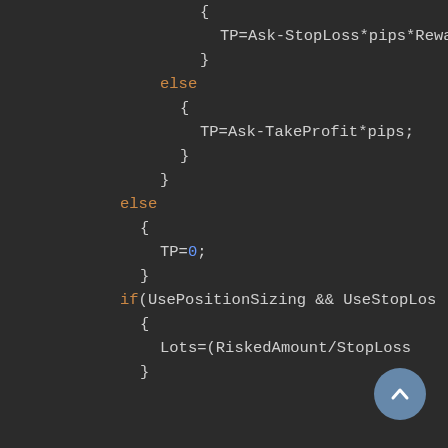[Figure (screenshot): Code editor screenshot showing MQL/C++ style code with if-else blocks, variable assignments for TP (TakeProfit) and Lots, with syntax highlighting: keywords in orange, numbers in blue, and general code in light gray on a dark background.]